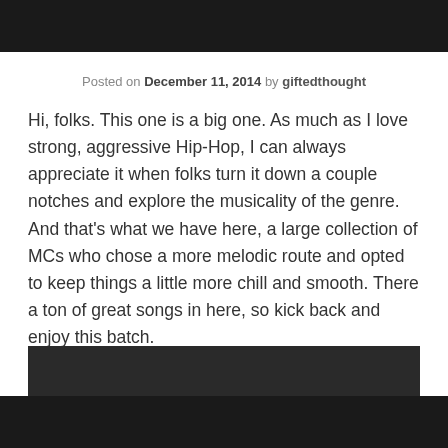Posted on December 11, 2014 by giftedthought
Hi, folks. This one is a big one. As much as I love strong, aggressive Hip-Hop, I can always appreciate it when folks turn it down a couple notches and explore the musicality of the genre. And that's what we have here, a large collection of MCs who chose a more melodic route and opted to keep things a little more chill and smooth. There a ton of great songs in here, so kick back and enjoy this batch.
Jason Chu x J. Han x Gowe x Ruth Cho – "Oh Lord 2"
[Figure (other): Dark/black image area at the bottom of the page]